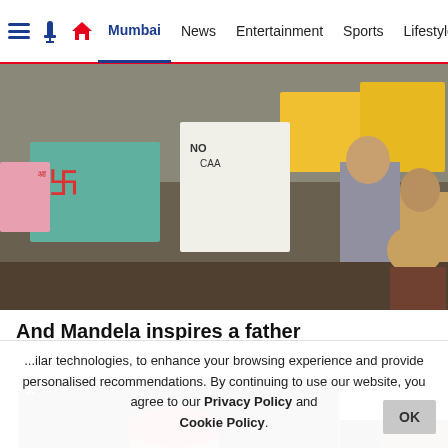Mumbai | News | Entertainment | Sports | Lifestyle | Photos
[Figure (photo): Protest scene with demonstrators holding signs against CAA/NRC, colorful placards visible]
And Mandela inspires a father
[Figure (photo): Popup image of politician in red cap and blue vest jacket speaking at event]
[Figure (photo): Partial image visible on right side]
...ilar technologies, to enhance your browsing experience and provide personalised recommendations. By continuing to use our website, you agree to our Privacy Policy and Cookie Policy.